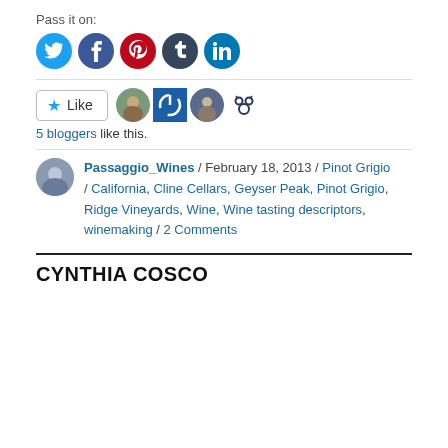Pass it on:
[Figure (illustration): Social sharing buttons: Twitter (blue circle), Facebook (blue circle), Pinterest (red circle), Tumblr (dark circle), LinkedIn (blue circle)]
[Figure (illustration): WordPress Like button with star icon, followed by 4 blogger avatar icons]
5 bloggers like this.
Passaggio_Wines / February 18, 2013 / Pinot Grigio / California, Cline Cellars, Geyser Peak, Pinot Grigio, Ridge Vineyards, Wine, Wine tasting descriptors, winemaking / 2 Comments
CYNTHIA COSCO